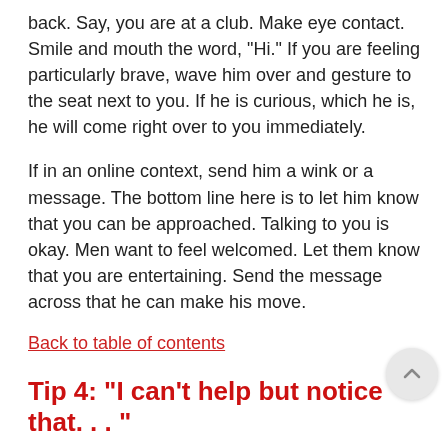back. Say, you are at a club. Make eye contact. Smile and mouth the word, "Hi." If you are feeling particularly brave, wave him over and gesture to the seat next to you. If he is curious, which he is, he will come right over to you immediately.
If in an online context, send him a wink or a message. The bottom line here is to let him know that you can be approached. Talking to you is okay. Men want to feel welcomed. Let them know that you are entertaining. Send the message across that he can make his move.
Back to table of contents
Tip 4: "I can't help but notice that. . . "
Allow us to reiterate: observation, no matter how simple, can be the key to approaching men. Women have an advantage over this since they are detail-oriented. Ladies,